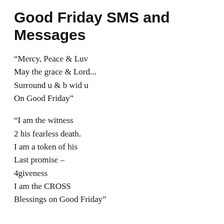Good Friday SMS and Messages
“Mercy, Peace & Luv
May the grace & Lord...
Surround u & b wid u
On Good Friday”
“I am the witness
2 his fearless death.
I am a token of his
Last promise –
4giveness
I am the CROSS
Blessings on Good Friday”